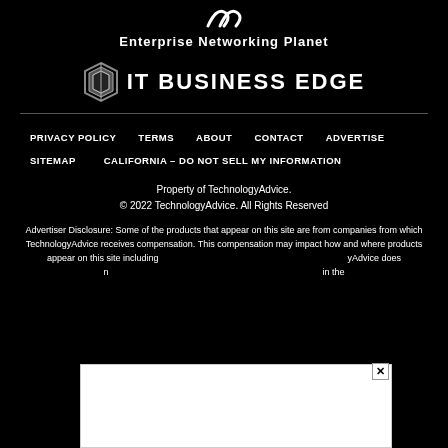[Figure (logo): Enterprise Networking Planet logo icon at top]
Enterprise Networking Planet
[Figure (logo): IT Business Edge logo with diamond/hexagon icon and bold text]
PRIVACY POLICY   TERMS   ABOUT   CONTACT   ADVERTISE
SITEMAP   CALIFORNIA – DO NOT SELL MY INFORMATION
Property of TechnologyAdvice.
© 2022 TechnologyAdvice. All Rights Reserved
Advertiser Disclosure: Some of the products that appear on this site are from companies from which TechnologyAdvice receives compensation. This compensation may impact how and where products appear on this site including TechnologyAdvice does not in the